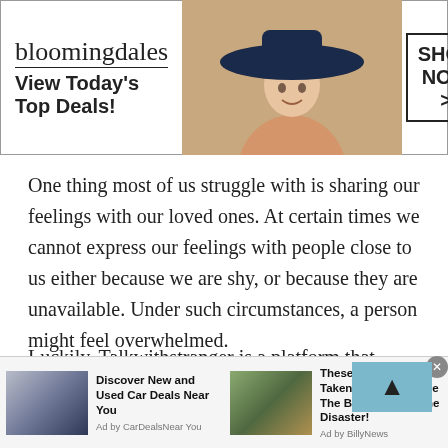[Figure (advertisement): Bloomingdales banner ad with logo, 'View Today's Top Deals!' tagline, woman wearing large hat, and 'SHOP NOW >' button in a box]
One thing most of us struggle with is sharing our feelings with our loved ones. At certain times we cannot express our feelings with people close to us either because we are shy, or because they are unavailable. Under such circumstances, a person might feel overwhelmed.
Luckily, Talkwithstranger is a platform that connects you with random strangers either from your local area, or foreign regions. Talking with strangers in such situations can help. Plus, since a stranger knows nothing about you
[Figure (advertisement): Bottom ad bar with two ads: 'Discover New and Used Car Deals Near You' by CarDealsNearYou, and 'These Pictures Was Taken Minutes Before The Beginning Of The Disaster!' by BillyNews]